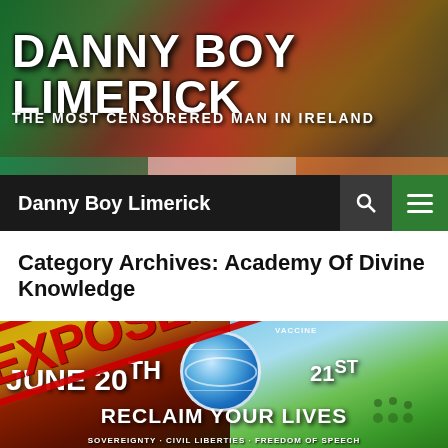[Figure (illustration): Danny Boy Limerick website banner with Irish flag colors and distressed text logo]
DANNY BOY LIMERICK
THE MOST CENSORERED MAN IN IRELAND
Danny Boy Limerick
Category Archives: Academy Of Divine Knowledge
[Figure (illustration): Promotional event image showing JUNE 20TH and 21ST with EXPOSED stamp overlay, WHO globe logo, reclaim your lives text, vaccine imagery, sovereignty civil liberties freedom of speech text]